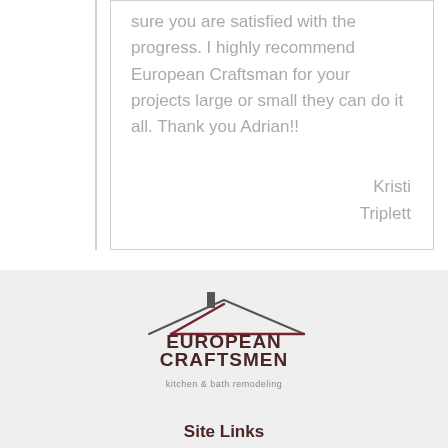sure you are satisfied with the progress. I highly recommend European Craftsman for your projects large or small they can do it all. Thank you Adrian!!
Kristi Triplett
[Figure (logo): European Craftsmen kitchen & bath remodeling logo with a roof/house outline above the text]
Site Links